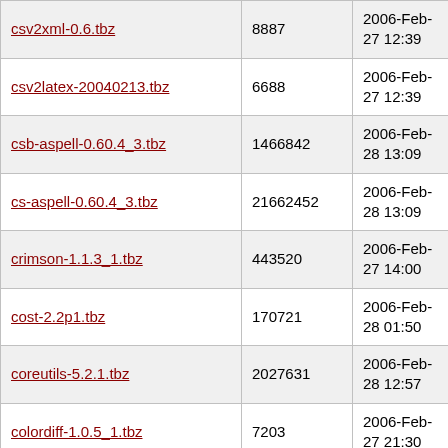| Name | Size | Date |
| --- | --- | --- |
| csv2xml-0.6.tbz | 8887 | 2006-Feb-27 12:39 |
| csv2latex-20040213.tbz | 6688 | 2006-Feb-27 12:39 |
| csb-aspell-0.60.4_3.tbz | 1466842 | 2006-Feb-28 13:09 |
| cs-aspell-0.60.4_3.tbz | 21662452 | 2006-Feb-28 13:09 |
| crimson-1.1.3_1.tbz | 443520 | 2006-Feb-27 14:00 |
| cost-2.2p1.tbz | 170721 | 2006-Feb-28 01:50 |
| coreutils-5.2.1.tbz | 2027631 | 2006-Feb-28 12:57 |
| colordiff-1.0.5_1.tbz | 7203 | 2006-Feb-27 21:30 |
| cole-2.0.1_1.tbz | 32026 | 2006-Feb-27 12:40 |
| code2html-0.9.1.tbz | 32724 | 2006-Feb-27 21:25 |
| clit-1.8.tbz | 76932 | 2006-Feb-28 13:01 |